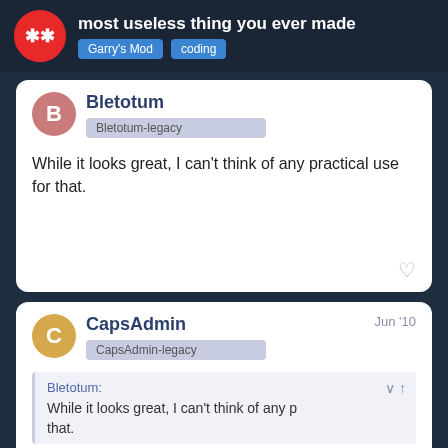most useless thing you ever made | Garry's Mod | coding
Bletotum
Bletotum-legacy
While it looks great, I can't think of any practical use for that.
CapsAdmin
CapsAdmin-legacy
Jun '10
Bletotum:
While it looks great, I can't think of any p
that.
17 / 76